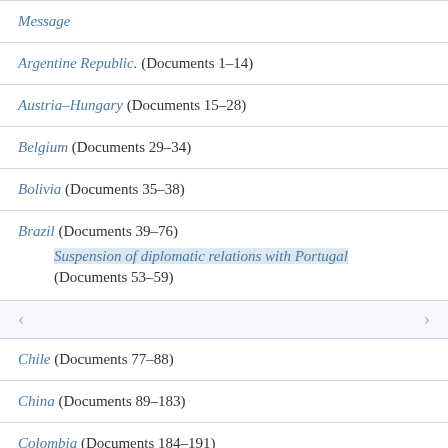Message
Argentine Republic. (Documents 1-14)
Austria-Hungary (Documents 15-28)
Belgium (Documents 29-34)
Bolivia (Documents 35-38)
Brazil (Documents 39-76) — Suspension of diplomatic relations with Portugal (Documents 53-59)
Chile (Documents 77-88)
China (Documents 89-183)
Colombia (Documents 184-191)